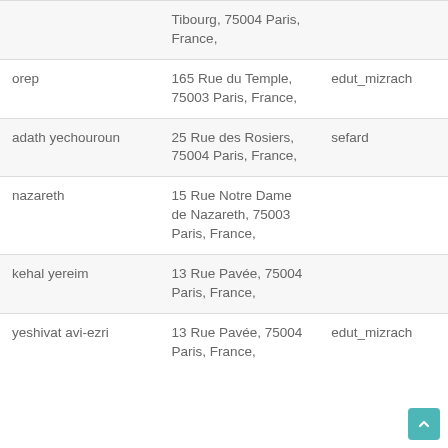|  | Tibourg, 75004 Paris, France, |  |
| orep | 165 Rue du Temple, 75003 Paris, France, | edut_mizrach |
| adath yechouroun | 25 Rue des Rosiers, 75004 Paris, France, | sefard |
| nazareth | 15 Rue Notre Dame de Nazareth, 75003 Paris, France, |  |
| kehal yereim | 13 Rue Pavée, 75004 Paris, France, |  |
| yeshivat avi-ezri | 13 Rue Pavée, 75004 Paris, France, | edut_mizrach |